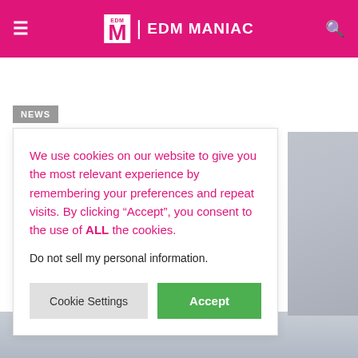EDM MANIAC
NEWS
Skrillex Explores Iceland In
We use cookies on our website to give you the most relevant experience by remembering your preferences and repeat visits. By clicking “Accept”, you consent to the use of ALL the cookies.
Do not sell my personal information.
[Figure (photo): Partial photo visible at right side and bottom of page, showing grey/overcast sky and landscape]